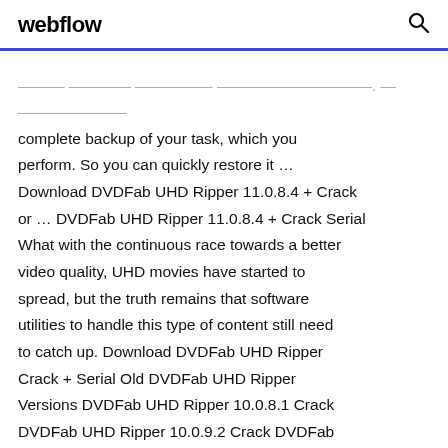webflow
make your USB drives bootable. It created a complete backup of your task, which you perform. So you can quickly restore it ... Download DVDFab UHD Ripper 11.0.8.4 + Crack or ... DVDFab UHD Ripper 11.0.8.4 + Crack Serial What with the continuous race towards a better video quality, UHD movies have started to spread, but the truth remains that software utilities to handle this type of content still need to catch up. Download DVDFab UHD Ripper Crack + Serial Old DVDFab UHD Ripper Versions DVDFab UHD Ripper 10.0.8.1 Crack DVDFab UHD Ripper 10.0.9.2 Crack DVDFab UHD Ripper Kostenloser Blu-ray Ripper - DVDFab Der DVDFab Blu-ray Ripper ermöglicht